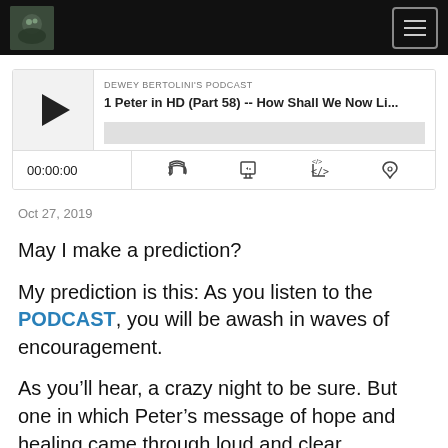Safe Haven Living - navigation header with logo and hamburger menu
[Figure (screenshot): Podcast player widget showing 'DEWEY BERTOLINI'S PODCAST' with title '1 Peter in HD (Part 58) -- How Shall We Now Li...' with play button, progress bar, time display 00:00:00, and control icons]
Oct 27, 2019
May I make a prediction?
My prediction is this: As you listen to the PODCAST, you will be awash in waves of encouragement.
As you’ll hear, a crazy night to be sure. But one in which Peter’s message of hope and healing came through loud and clear.